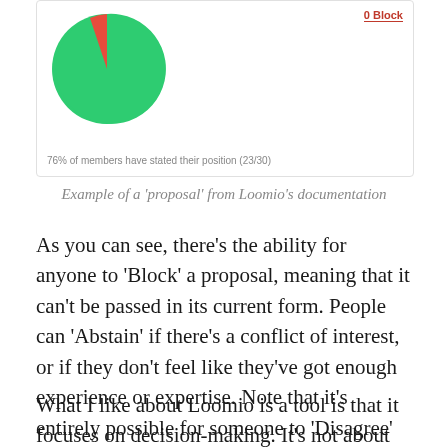[Figure (pie-chart): Pie chart showing voting results with a large green segment (agree/passed), and a small red segment (0 Block). 76% of members have stated their position (23/30).]
Example of a ‘proposal’ from Loomio’s documentation
As you can see, there’s the ability for anyone to ‘Block’ a proposal, meaning that it can’t be passed in its current form. People can ‘Abstain’ if there’s a conflict of interest, or if they don’t feel like they’ve got enough experience or expertise. Note that it’s entirely possible for someone to ‘Disagree’ and the motion to still go ahead.
What I like about Loomio is a tool is that it focuses on decision-making. It’s not about endless